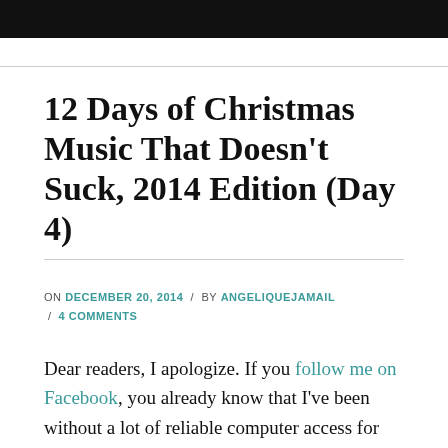12 Days of Christmas Music That Doesn't Suck, 2014 Edition (Day 4)
ON DECEMBER 20, 2014 / BY ANGELIQUEJAMAIL / 4 COMMENTS
Dear readers, I apologize. If you follow me on Facebook, you already know that I've been without a lot of reliable computer access for most of this week